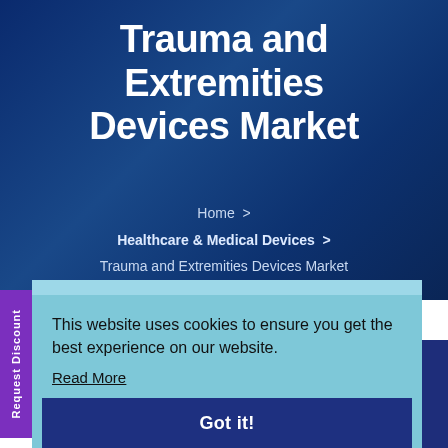Trauma and Extremities Devices Market
Home > Healthcare & Medical Devices > Trauma and Extremities Devices Market
This website uses cookies to ensure you get the best experience on our website.
Read More
Got it!